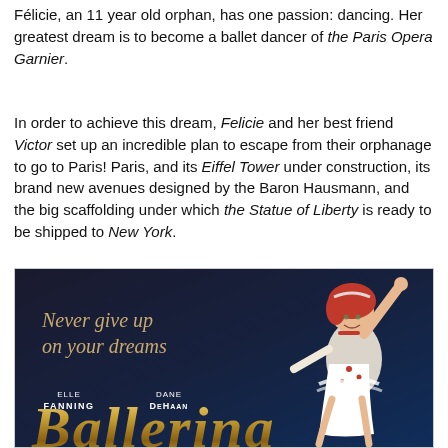Félicie, an 11 year old orphan, has one passion: dancing. Her greatest dream is to become a ballet dancer of the Paris Opera Garnier.
In order to achieve this dream, Felicie and her best friend Victor set up an incredible plan to escape from their orphanage to go to Paris! Paris, and its Eiffel Tower under construction, its brand new avenues designed by the Baron Hausmann, and the big scaffolding under which the Statue of Liberty is ready to be shipped to New York.
[Figure (illustration): Movie poster for 'Ballerina' animated film. Dark blue/navy background with tagline 'Never give up on your dreams' in gold italic text. Cast credits for Elle Fanning and Dane DeHaan. Gold ornate 'Ballerina' title at bottom. Animated red-haired ballerina girl in white and red costume with arm raised on right side.]